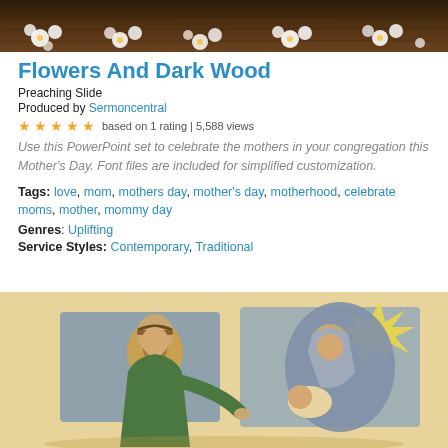[Figure (photo): Top banner image showing flowers and dark wood background]
Flowers And Dark Wood
Preaching Slide
Produced by Sermoncentral
★★★★★ based on 1 rating | 5,588 views
Use this PowerPoint set to celebrate the mothers in your congregation this Mother's Day. Font files are included for simplified customization.
Tags: love, mom, mothers day, mother's day, motherhood, celebrate moms, mother, mommy day
Genres: Uplifting
Service Styles: Contemporary, Traditional
[Figure (illustration): Illustration of a nativity scene showing Joseph, Mary, and baby Jesus in a sketch/cartoon style with tan background and blue accents, with a star in the upper right]